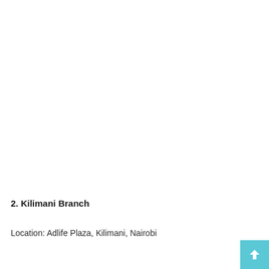2. Kilimani Branch
Location: Adlife Plaza, Kilimani, Nairobi